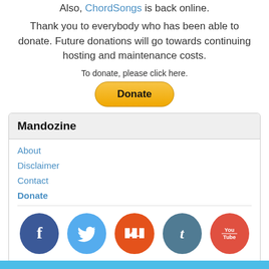Also, ChordSongs is back online.
Thank you to everybody who has been able to donate. Future donations will go towards continuing hosting and maintenance costs.
To donate, please click here.
[Figure (other): PayPal Donate button — yellow rounded rectangle with bold text 'Donate']
Mandozine
About
Disclaimer
Contact
Donate
[Figure (other): Row of 5 social media icons: Facebook, Twitter, SoundCloud, Tumblr, YouTube]